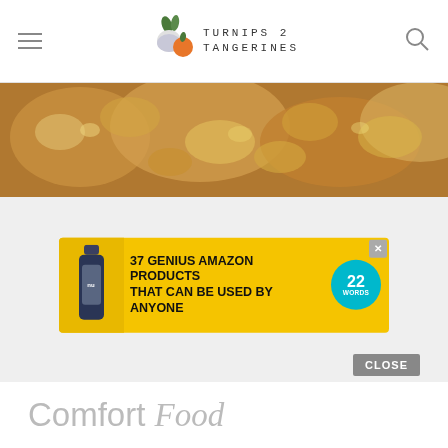Turnips 2 Tangerines
[Figure (photo): Close-up food photo showing a baked or cooked dish with golden-brown texture]
[Figure (infographic): Advertisement banner: '37 Genius Amazon Products That Can Be Used By Anyone' with a supplement bottle image and a teal '22 Words' badge, yellow background, with X close button]
CLOSE
Comfort Food